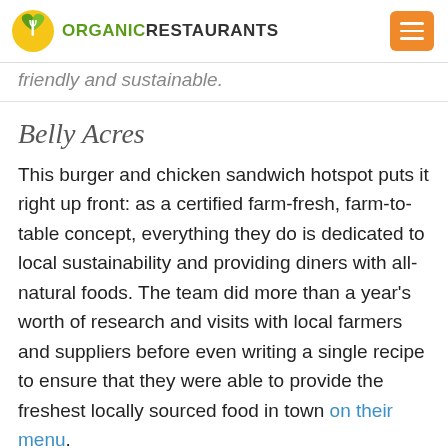ORGANICRESTAURANTS
friendly and sustainable.
Belly Acres
This burger and chicken sandwich hotspot puts it right up front: as a certified farm-fresh, farm-to-table concept, everything they do is dedicated to local sustainability and providing diners with all-natural foods. The team did more than a year’s worth of research and visits with local farmers and suppliers before even writing a single recipe to ensure that they were able to provide the freshest locally sourced food in town on their menu.